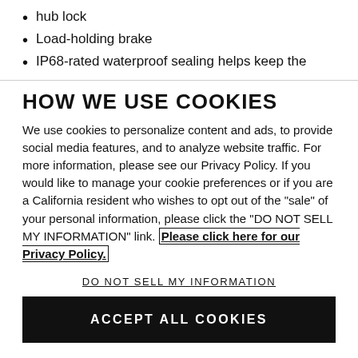hub lock
Load-holding brake
IP68-rated waterproof sealing helps keep the elements out
HOW WE USE COOKIES
We use cookies to personalize content and ads, to provide social media features, and to analyze website traffic. For more information, please see our Privacy Policy. If you would like to manage your cookie preferences or if you are a California resident who wishes to opt out of the "sale" of your personal information, please click the "DO NOT SELL MY INFORMATION" link. Please click here for our Privacy Policy.
DO NOT SELL MY INFORMATION
ACCEPT ALL COOKIES